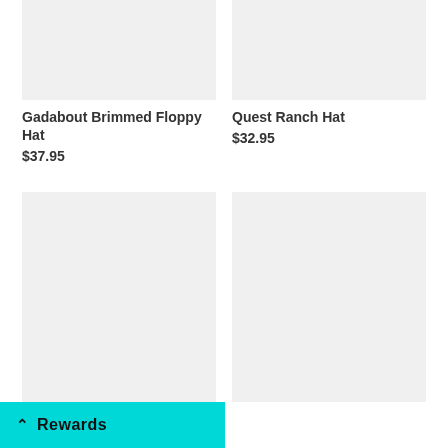[Figure (photo): Product image placeholder for Gadabout Brimmed Floppy Hat - light gray rectangle]
[Figure (photo): Product image placeholder for Quest Ranch Hat - light gray rectangle]
Gadabout Brimmed Floppy Hat
$37.95
Quest Ranch Hat
$32.95
[Figure (photo): Product image placeholder for Fringe Hat With Animal - tall light gray rectangle]
[Figure (photo): Product image placeholder - tall light gray rectangle]
Fringe Hat With Animal
Rewards